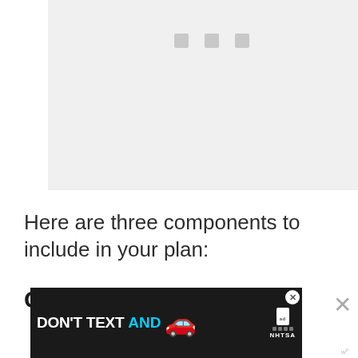[Figure (other): Light gray placeholder image box with three small gray squares near the top center, representing a loading or empty media area]
Here are three components to include in your plan:
Create a checklist
[Figure (other): Advertisement banner: DON'T TEXT AND [car emoji] with NHTSA logo and ad badge, on dark background. Close button in top right corner.]